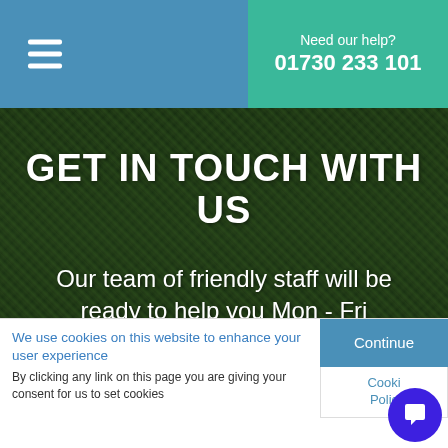Need our help? 01730 233 101
GET IN TOUCH WITH US
Our team of friendly staff will be ready to help you Mon - Fri
We use cookies on this website to enhance your user experience
By clicking any link on this page you are giving your consent for us to set cookies
Continue
Cookie Policy